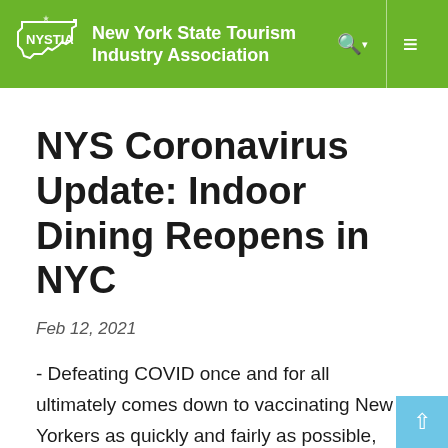New York State Tourism Industry Association
NYS Coronavirus Update: Indoor Dining Reopens in NYC
Feb 12, 2021
- Defeating COVID once and for all ultimately comes down to vaccinating New Yorkers as quickly and fairly as possible, and continuing to do all we can to drive down infection and hospitalization rates while doing so. We're continuing to make great progress in our